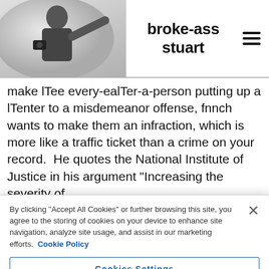broke-ass stuart
make lTee every-ealTer-a-person putting up a lTenter to a misdemeanor offense, fnnch wants to make them an infraction, which is more like a traffic ticket than a crime on your record.  He quotes the National Institute of Justice in his argument “Increasing the severity of
By clicking “Accept All Cookies” or further browsing this site, you agree to the storing of cookies on your device to enhance site navigation, analyze site usage, and assist in our marketing efforts.  Cookie Policy
Cookies Settings
Reject All
Accept All Cookies